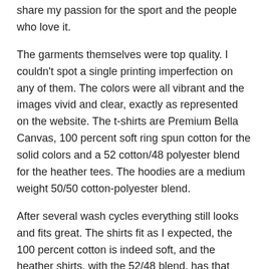share my passion for the sport and the people who love it.
The garments themselves were top quality. I couldn't spot a single printing imperfection on any of them. The colors were all vibrant and the images vivid and clear, exactly as represented on the website. The t-shirts are Premium Bella Canvas, 100 percent soft ring spun cotton for the solid colors and a 52 cotton/48 polyester blend for the heather tees. The hoodies are a medium weight 50/50 cotton-polyester blend.
After several wash cycles everything still looks and fits great. The shirts fit as I expected, the 100 percent cotton is indeed soft, and the heather shirts, with the 52/48 blend, has that combination of softness and stretch that I particularly love to wear while throwing.